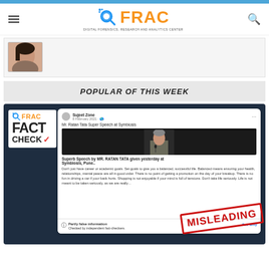[Figure (logo): FRAC Digital Forensics Research and Analytics Center logo with orange text and blue magnifying glass icon]
[Figure (photo): Partial view of a person's face/profile photo (author image)]
POPULAR OF THIS WEEK
[Figure (screenshot): Screenshot of a Facebook post by Sujeet Zone about Mr. Ratan Tata Super Speech at Symbiosis, with a FACT CHECK badge and MISLEADING stamp overlay. The post contains text about a superb speech by MR. RATAN TATA given yesterday at Symbiosis, Pune. Facebook shows 'Partly false information - Checked by independent fact-checkers.' The image has a MISLEADING stamp in red.]